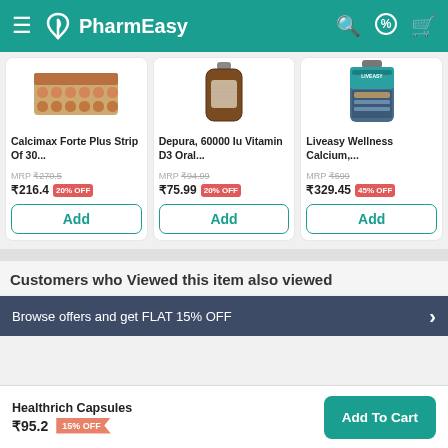PharmEasy
[Figure (screenshot): Calcimax Forte Plus Strip product image - strip of brown tablets]
Calcimax Forte Plus Strip Of 30...
MRP ₹270.5
₹216.4  20% OFF
[Figure (screenshot): Depura 60000 IU Vitamin D3 Oral product image - brown glass bottle]
Depura, 60000 Iu Vitamin D3 Oral...
MRP ₹94.99
₹75.99  20% OFF
[Figure (screenshot): Liveasy Wellness Calcium product image - supplement bottle]
Liveasy Wellness Calcium,...
MRP ₹599
₹329.45  45% OFF
Customers who Viewed this item also viewed
Browse offers and get FLAT 15% OFF
Healthrich Capsules
₹95.2  15% OFF
Add To Cart